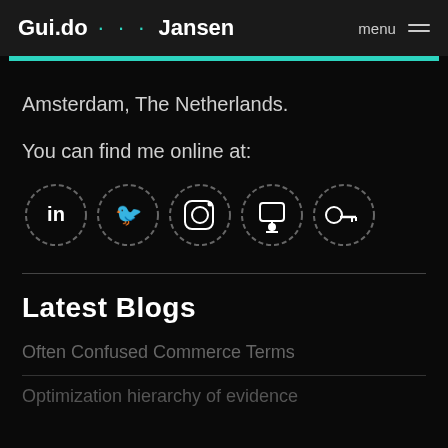Gui.do ··· Jansen   menu ≡
Amsterdam, The Netherlands.
You can find me online at:
[Figure (illustration): Five social media icon circles with dashed borders: LinkedIn (in), Twitter bird, Instagram camera, Slideshare/presenter robot, Key/Keybase]
Latest Blogs
Often Confused Commerce Terms
Optimization hierarchy of evidence